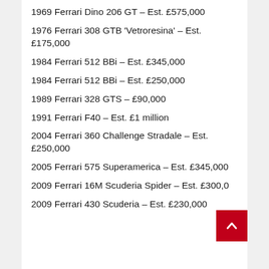1969 Ferrari Dino 206 GT – Est. £575,000
1976 Ferrari 308 GTB 'Vetroresina' – Est. £175,000
1984 Ferrari 512 BBi – Est. £345,000
1984 Ferrari 512 BBi – Est. £250,000
1989 Ferrari 328 GTS – £90,000
1991 Ferrari F40 – Est. £1 million
2004 Ferrari 360 Challenge Stradale – Est. £250,000
2005 Ferrari 575 Superamerica – Est. £345,000
2009 Ferrari 16M Scuderia Spider – Est. £300,000
2009 Ferrari 430 Scuderia – Est. £230,000